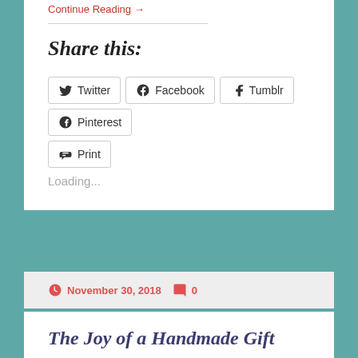Continue Reading →
Share this:
Twitter Facebook Tumblr Pinterest Print
Loading...
November 30, 2018  0
The Joy of a Handmade Gift